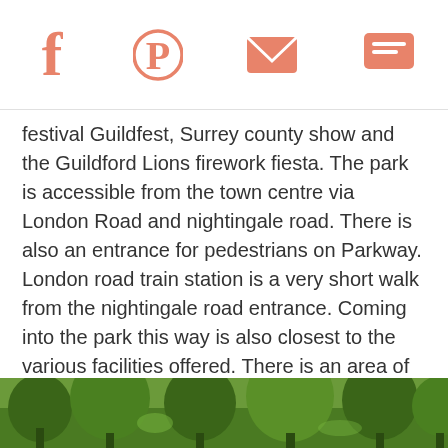Social share icons: Facebook, Pinterest, Email, Chat
festival Guildfest, Surrey county show and the Guildford Lions firework fiesta. The park is accessible from the town centre via London Road and nightingale road. There is also an entrance for pedestrians on Parkway. London road train station is a very short walk from the nightingale road entrance. Coming into the park this way is also closest to the various facilities offered. There is an area of beautiful sensory gardens to walk through or sit in, a children's play area with swings, slides, climbing frames etc and a paddling pool. There is also a small cafe, boating lake, crazy golf course, trim trail and woodland. The crazy golf is open between June and September and for the easter holidays. There is a charge for the crazy golf. The paddling pool generally open late in May for the bank holiday and stays open until August.
[Figure (photo): Outdoor park scene with trees and greenery]